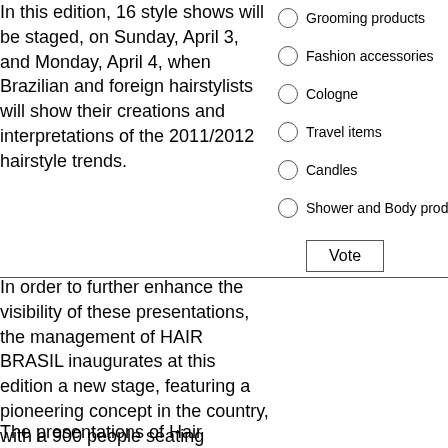In this edition, 16 style shows will be staged, on Sunday, April 3, and Monday, April 4, when Brazilian and foreign hairstylists will show their creations and interpretations of the 2011/2012 hairstyle trends.
Grooming products
Fashion accessories
Cologne
Travel items
Candles
Shower and Body products
In order to further enhance the visibility of these presentations, the management of HAIR BRASIL inaugurates at this edition a new stage, featuring a pioneering concept in the country, with a 900 people seating capacity and surrounded by an arena for professional invited guests.
The presentations of Hair